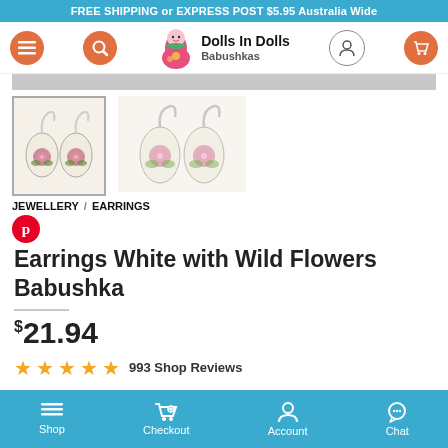FREE SHIPPING or EXPRESS POST $5.95 Australia Wide
[Figure (logo): Dolls In Dolls Babushkas logo with matryoshka doll icon]
[Figure (photo): Two oval white earrings with pink rose/wild flower painting, shown in thumbnail and main view]
JEWELLERY / EARRINGS
Earrings White with Wild Flowers Babushka
$21.94
993 Shop Reviews
Shop  Checkout  Account  Chat